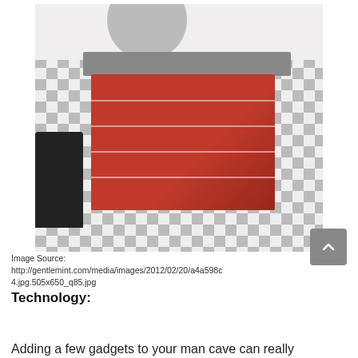[Figure (photo): A faded/washed-out photo of a man cave bathroom featuring a red toolbox converted into a bathroom vanity/sink cabinet, a black bar stool on the left, black-and-white checkerboard tile floor, and white walls with a circular mirror.]
Image Source: http://gentlemint.com/media/images/2012/02/20/a4a598c4.jpg.505x650_q85.jpg
Technology:
Adding a few gadgets to your man cave can really